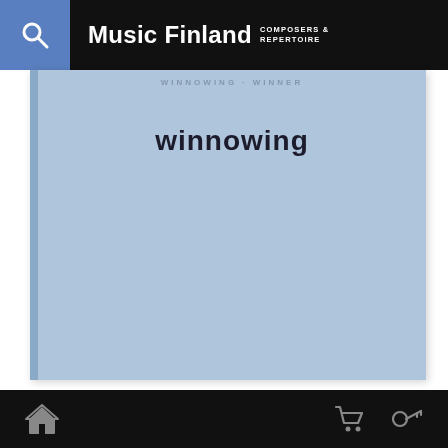Music Finland COMPOSERS & REPERTOIRE
[Figure (illustration): Album cover with light blue/steel-blue background, showing the title 'winnowing' in bold dark text near the top center. The cover has a book-like appearance with a slightly darker left spine.]
winnowing
Home | Cart | Search icons